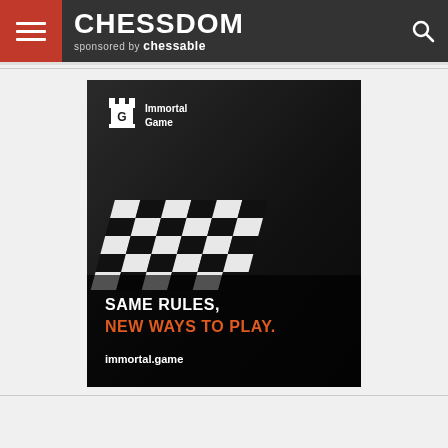CHESSDOM sponsored by chessable
[Figure (photo): Advertisement for Immortal Game chess app showing chess pieces on a board with text 'SAME RULES, NEW WAYS TO PLAY.' and URL immortal.game]